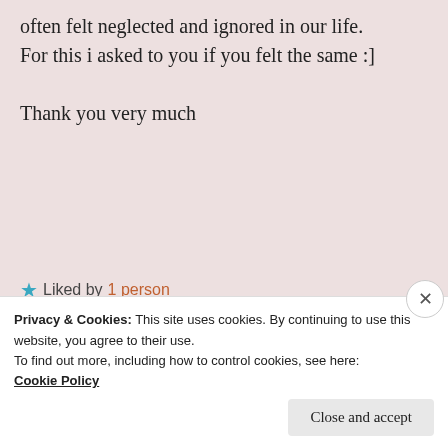often felt neglected and ignored in our life.
For this i asked to you if you felt the same :]

Thank you very much
★ Liked by 1 person
Pat Fitzgerald
november 14, 2021 at 1:46 am
Privacy & Cookies: This site uses cookies. By continuing to use this website, you agree to their use.
To find out more, including how to control cookies, see here:
Cookie Policy
Close and accept